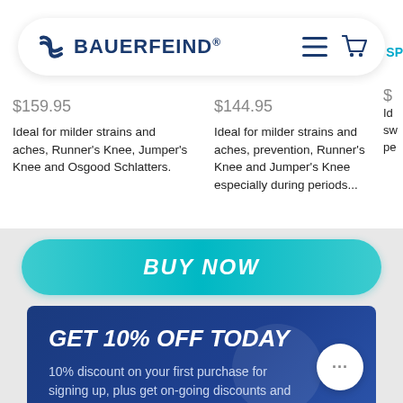[Figure (screenshot): Bauerfeind website screenshot showing product cards, navigation bar, BUY NOW button, and GET 10% OFF TODAY promotional banner]
BAUERFEIND®
$159.95
$144.95
Ideal for milder strains and aches, Runner's Knee, Jumper's Knee and Osgood Schlatters.
Ideal for milder strains and aches, prevention, Runner's Knee and Jumper's Knee especially during periods...
BUY NOW
GET 10% OFF TODAY
10% discount on your first purchase for signing up, plus get on-going discounts and latest news.